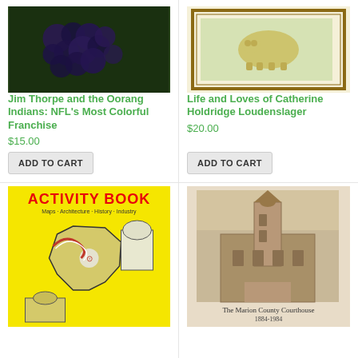[Figure (photo): Book cover of Jim Thorpe and the Oorang Indians showing dark grapes or berries on green background]
Jim Thorpe and the Oorang Indians: NFL's Most Colorful Franchise
$15.00
ADD TO CART
[Figure (photo): Book cover of Life and Loves of Catherine Holdridge Loudenslager showing illustrated animal on decorative border background]
Life and Loves of Catherine Holdridge Loudenslager
$20.00
ADD TO CART
[Figure (photo): Activity Book cover with yellow background showing Ohio map, state capitol building, and American flag]
[Figure (photo): Black and white photo of The Marion County Courthouse 1884-1984]